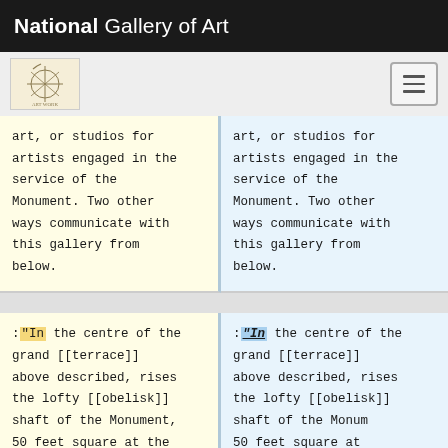National Gallery of Art
art, or studios for artists engaged in the service of the Monument. Two other ways communicate with this gallery from below.
art, or studios for artists engaged in the service of the Monument. Two other ways communicate with this gallery from below.
:"In the centre of the grand [[terrace]] above described, rises the lofty [[obelisk]] shaft of the Monument, 50 feet square at the base, and 500 feet high, diminishing as
:"In the centre of the grand [[terrace]] above described, rises the lofty [[obelisk]] shaft of the Monument, 50 feet square at the base, and 500 feet high, diminishing as